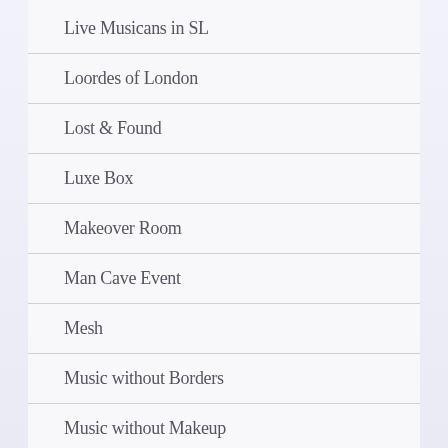Live Musicans in SL
Loordes of London
Lost & Found
Luxe Box
Makeover Room
Man Cave Event
Mesh
Music without Borders
Music without Makeup